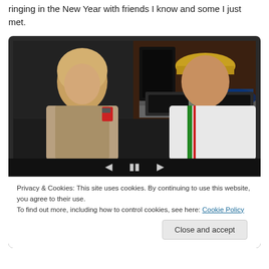ringing in the New Year with friends I know and some I just met.
[Figure (photo): A man wearing a gold cap and white jersey poses with a blonde woman holding a red cup near a DJ booth with blue LED lighting in a nightclub setting. A DJ works equipment in the background.]
Privacy & Cookies: This site uses cookies. By continuing to use this website, you agree to their use.
To find out more, including how to control cookies, see here: Cookie Policy
Close and accept